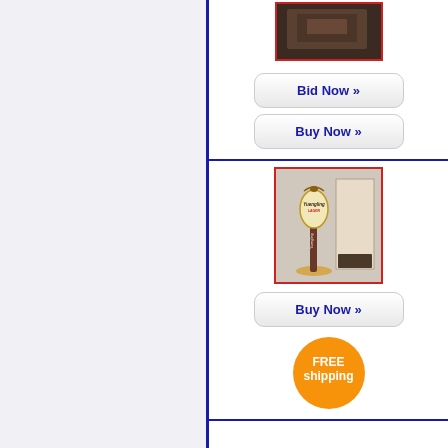[Figure (photo): Dark brown leather/animal product photo with red border frame, top of page right panel]
Bid Now »
Buy Now »
[Figure (photo): Yuengling beer tap handle with box, red border frame]
Buy Now »
[Figure (infographic): Orange circular FREE shipping badge]